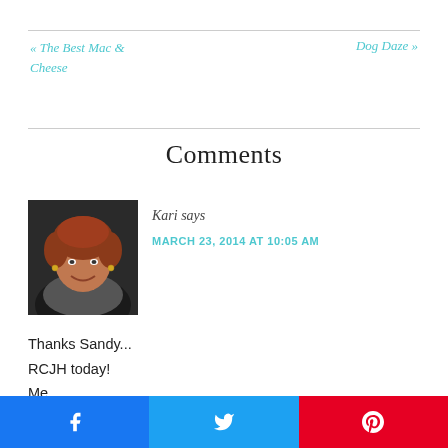« The Best Mac & Cheese
Dog Daze »
Comments
[Figure (photo): Profile photo of a smiling woman with short reddish-brown hair, wearing earrings and a dark jacket.]
Kari says
MARCH 23, 2014 AT 10:05 AM
Thanks Sandy...
RCJH today!
Me
[Figure (infographic): Social share buttons: Facebook (blue), Twitter (light blue), Pinterest (red)]